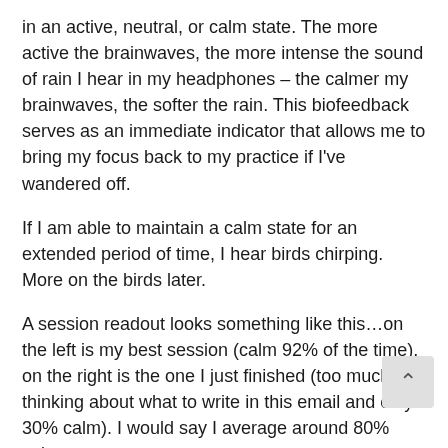in an active, neutral, or calm state. The more active the brainwaves, the more intense the sound of rain I hear in my headphones – the calmer my brainwaves, the softer the rain. This biofeedback serves as an immediate indicator that allows me to bring my focus back to my practice if I've wandered off.
If I am able to maintain a calm state for an extended period of time, I hear birds chirping. More on the birds later.
A session readout looks something like this…on the left is my best session (calm 92% of the time), on the right is the one I just finished (too much thinking about what to write in this email and only 30% calm). I would say I average around 80% calm most sessions.
Notice the vertical 3 bars – the lower waves are the